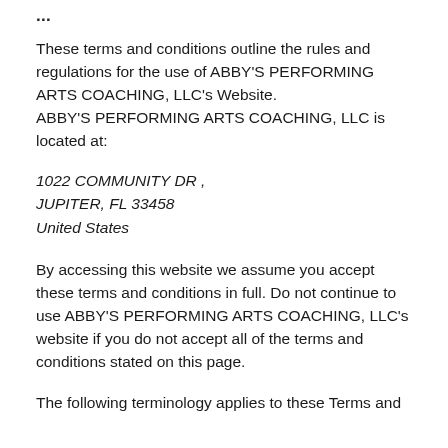...
These terms and conditions outline the rules and regulations for the use of ABBY'S PERFORMING ARTS COACHING, LLC's Website.
ABBY'S PERFORMING ARTS COACHING, LLC is located at:
1022 COMMUNITY DR ,
JUPITER, FL 33458
United States
By accessing this website we assume you accept these terms and conditions in full. Do not continue to use ABBY'S PERFORMING ARTS COACHING, LLC's website if you do not accept all of the terms and conditions stated on this page.
The following terminology applies to these Terms and